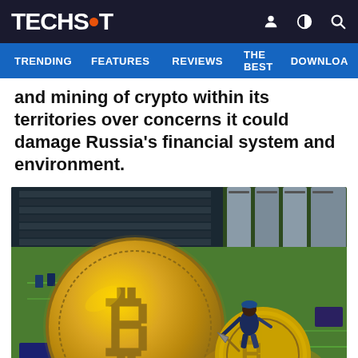TECHSPOT
TRENDING  FEATURES  REVIEWS  THE BEST  DOWNLOA
and mining of crypto within its territories over concerns it could damage Russia's financial system and environment.
[Figure (photo): A miniature figurine of a miner with a pickaxe standing on a golden Bitcoin coin, with a large Bitcoin coin behind it, all placed on a green circuit board (motherboard). The image illustrates Bitcoin/crypto mining.]